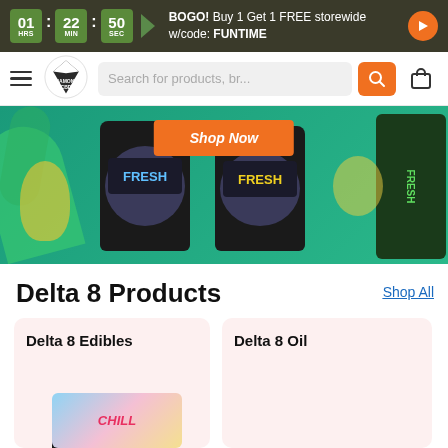BOGO! Buy 1 Get 1 FREE storewide w/code: FUNTIME — 01 HRS : 22 MIN : 50 SEC
[Figure (screenshot): Diamond CBD logo — diamond shape in green and white]
Search for products, br...
[Figure (photo): Hero banner showing Diamond CBD FRESH products — gummies jars and vape products on teal background with Shop Now button]
Delta 8 Products
Shop All
Delta 8 Edibles
Delta 8 Oil